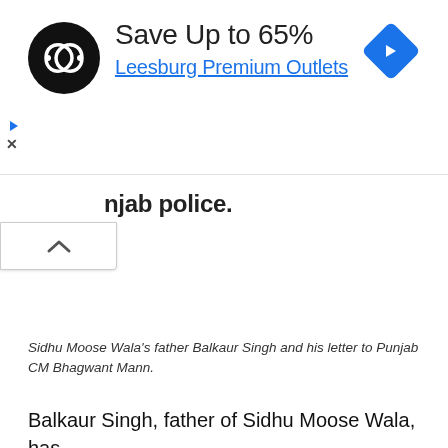[Figure (screenshot): Advertisement banner showing a circular logo with infinity-like symbol, text 'Save Up to 65%' and 'Leesburg Premium Outlets' in blue, with a blue navigation/directions diamond icon on the right. Ad controls (play and close buttons) visible on left side.]
njab police.
Sidhu Moose Wala's father Balkaur Singh and his letter to Punjab CM Bhagwant Mann.
Balkaur Singh, father of Sidhu Moose Wala, has